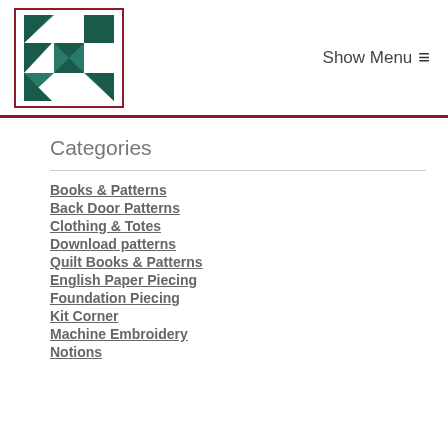Show Menu
[Figure (logo): Quilt pattern logo — teal/dark green geometric star/pinwheel block design inside a dark red border box]
Categories
Books & Patterns
Back Door Patterns
Clothing & Totes
Download patterns
Quilt Books & Patterns
English Paper Piecing
Foundation Piecing
Kit Corner
Machine Embroidery
Notions